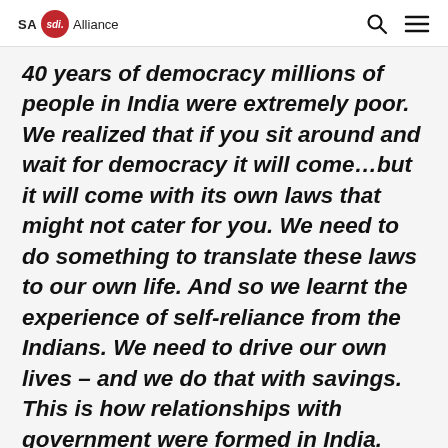SA sdi. Alliance
40 years of democracy millions of people in India were extremely poor. We realized that if you sit around and wait for democracy it will come...but it will come with its own laws that might not cater for you. We need to do something to translate these laws to our own life. And so we learnt the experience of self-reliance from the Indians. We need to drive our own lives – and we do that with savings. This is how relationships with government were formed in India. Our savings and